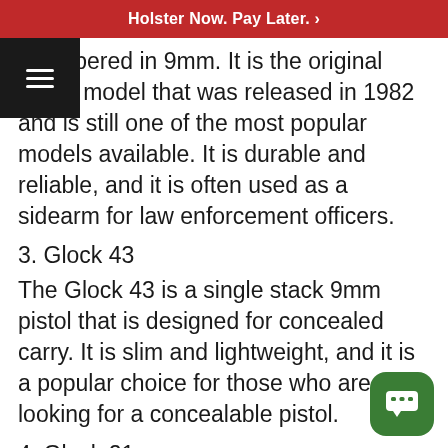Holster Now. Pay Later. >
chambered in 9mm. It is the original Glock model that was released in 1982 and is still one of the most popular models available. It is durable and reliable, and it is often used as a sidearm for law enforcement officers.
3. Glock 43
The Glock 43 is a single stack 9mm pistol that is designed for concealed carry. It is slim and lightweight, and it is a popular choice for those who are looking for a concealable pistol.
4. Glock 21
The Glock 21 is a full-size pistol that is